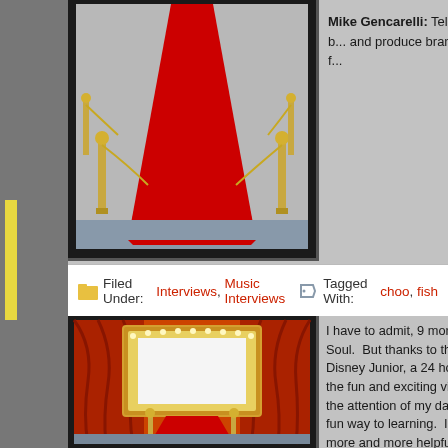[Figure (photo): Red carpet with velvet ropes and stanchions, viewed from above/front perspective]
Mike Gencarelli: Tell us some b... and produce brand new music f...
Filed Under: Interviews, Music Interviews  Tagged With: choo, fish
[Figure (photo): Theater stage with red curtains, gold marquee frame, and red carpet with stanchions]
I have to admit, 9 months ago I... Soul. But thanks to the birth of... Disney Junior, a 24 hour channe... the fun and exciting videos from... the attention of my daughter fro... fun way to learning. I have a fe... more and more helpful in learnin... "Disney Favorites" with classics... Upon A Star", with a little extra s... Genevieve in order to get the in... new album and their love of ent...